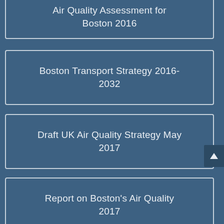Air Quality Assessment for Boston 2016
Boston Transport Strategy 2016-2032
Draft UK Air Quality Strategy May 2017
Report on Boston's Air Quality 2017